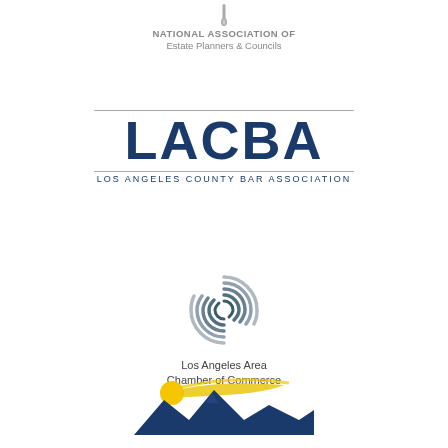[Figure (logo): National Association of Estate Planners & Councils logo with pin icon and text]
[Figure (logo): LACBA - Los Angeles County Bar Association logo with large blue LACBA text between horizontal lines]
[Figure (logo): Los Angeles Area Chamber of Commerce logo with swirling globe graphic]
[Figure (logo): San Fernando Valley Bar Association logo with mountain and sun graphic]